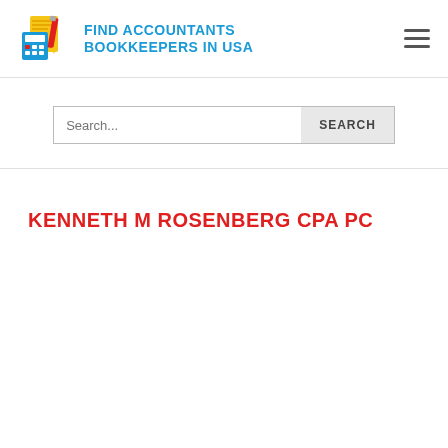[Figure (logo): Find Accountants Bookkeepers in USA logo with calculator and pencil icon in yellow/blue/red, alongside blue text reading FIND ACCOUNTANTS BOOKKEEPERS IN USA]
[Figure (other): Hamburger menu icon (three horizontal lines)]
Search...
KENNETH M ROSENBERG CPA PC